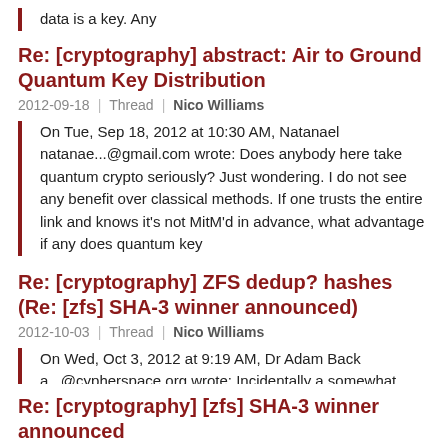data is a key. Any
Re: [cryptography] abstract: Air to Ground Quantum Key Distribution
2012-09-18 | Thread | Nico Williams
On Tue, Sep 18, 2012 at 10:30 AM, Natanael natanae...@gmail.com wrote: Does anybody here take quantum crypto seriously? Just wondering. I do not see any benefit over classical methods. If one trusts the entire link and knows it's not MitM'd in advance, what advantage if any does quantum key
Re: [cryptography] ZFS dedup? hashes (Re: [zfs] SHA-3 winner announced)
2012-10-03 | Thread | Nico Williams
On Wed, Oct 3, 2012 at 9:19 AM, Dr Adam Back a...@cypherspace.org wrote: Incidentally a somewhat related problem with dedup (probably more in cloud storage than local dedup of storage) is that the dedup function itself can lead to the confirmation or even decryption of documents with
Re: [cryptography] [zfs] SHA-3 winner announced